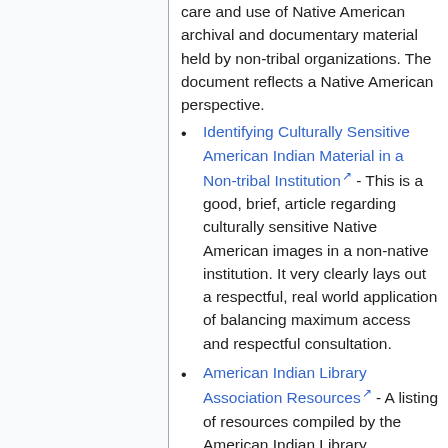care and use of Native American archival and documentary material held by non-tribal organizations. The document reflects a Native American perspective.
Identifying Culturally Sensitive American Indian Material in a Non-tribal Institution - This is a good, brief, article regarding culturally sensitive Native American images in a non-native institution. It very clearly lays out a respectful, real world application of balancing maximum access and respectful consultation.
American Indian Library Association Resources - A listing of resources compiled by the American Indian Library Association
Canadian Conservation Institute Caring for Sacred and Culturally